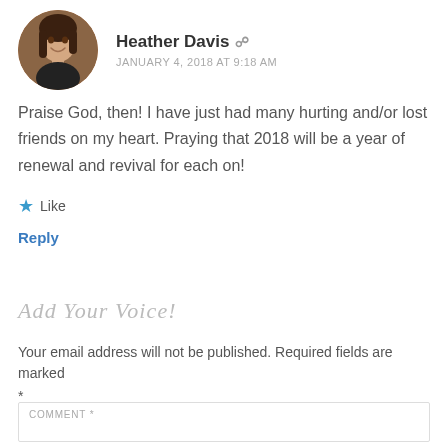[Figure (photo): Circular avatar photo of a woman with dark hair smiling]
Heather Davis
JANUARY 4, 2018 AT 9:18 AM
Praise God, then! I have just had many hurting and/or lost friends on my heart. Praying that 2018 will be a year of renewal and revival for each on!
Like
Reply
Add Your Voice!
Your email address will not be published. Required fields are marked *
COMMENT *